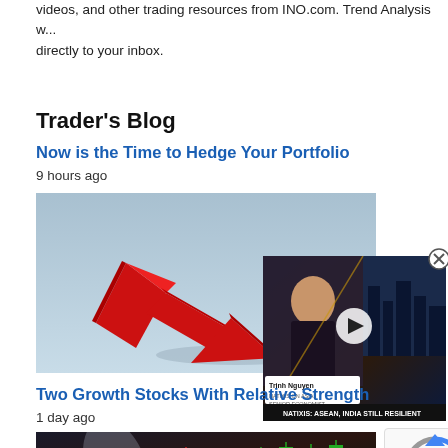videos, and other trading resources from INO.com. Trend Analysis w... directly to your inbox.
Trader's Blog
Now is the Time to Hedge Your Portfolio
9 hours ago
[Figure (photo): Red 3D arrow chart showing a downward trend with a shadow of a person standing next to it on a light blue background]
[Figure (screenshot): Video overlay showing a woman presenter (Trinh Nguyen, Natixis Senior Economist) with text 'NATIXIS: ASEAN, INDIA STILL RESILIENT' and a play button]
Two Growth Stocks With Relative Strength
1 day ago
[Figure (photo): Stock market candlestick chart image with green and red candles on a blurred dark background with a light streak]